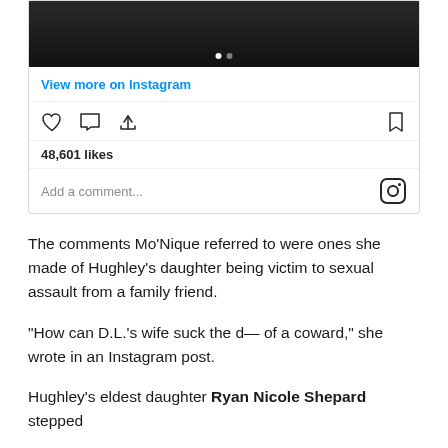[Figure (screenshot): Instagram embed showing bottom of a photo (dark image), 'View more on Instagram' link, action icons (heart, comment, share, bookmark), 48,601 likes count, and an 'Add a comment...' input area with Instagram logo.]
The comments Mo’Nique referred to were ones she made of Hughley’s daughter being victim to sexual assault from a family friend.
“How can D.L.’s wife suck the d— of a coward,” she wrote in an Instagram post.
Hughley’s eldest daughter Ryan Nicole Shepard stepped